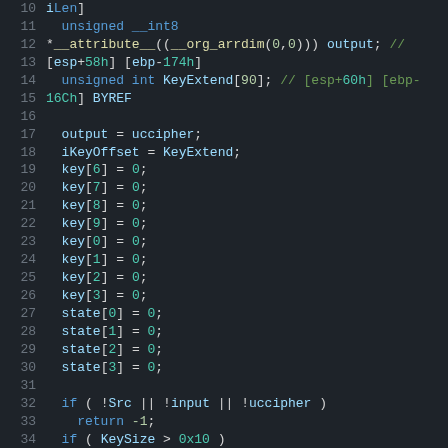[Figure (screenshot): Source code listing showing C/C++ code with line numbers 10-36 in a dark IDE theme. Code includes variable declarations and assignments for unsigned types, key and state arrays, and conditional checks.]